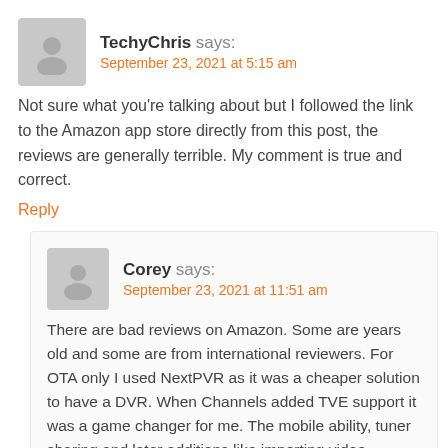TechyChris says:
September 23, 2021 at 5:15 am
Not sure what you're talking about but I followed the link to the Amazon app store directly from this post, the reviews are generally terrible. My comment is true and correct.
Reply
Corey says:
September 23, 2021 at 11:51 am
There are bad reviews on Amazon. Some are years old and some are from international reviewers. For OTA only I used NextPVR as it was a cheaper solution to have a DVR. When Channels added TVE support it was a game changer for me. The mobile ability, tuner sharing and later additions like importing video libraries and creating custom channels with your video library just made it that much better.
Reply